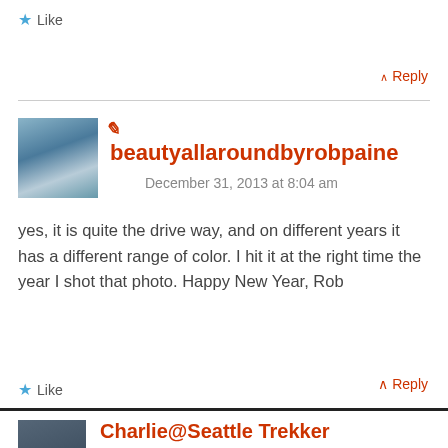★ Like
↑ Reply
beautyallaroundbyrobpaine
December 31, 2013 at 8:04 am
yes, it is quite the drive way, and on different years it has a different range of color. I hit it at the right time the year I shot that photo. Happy New Year, Rob
★ Like
↑ Reply
Charlie@Seattle Trekker
December 29, 2013 at 10:44 pm